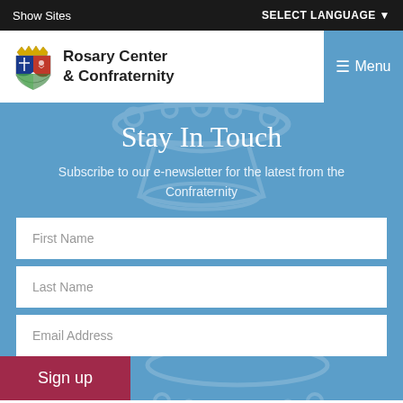Show Sites | SELECT LANGUAGE
[Figure (logo): Rosary Center & Confraternity logo with heraldic shield and text]
Stay In Touch
Subscribe to our e-newsletter for the latest from the Confraternity
First Name
Last Name
Email Address
Sign up